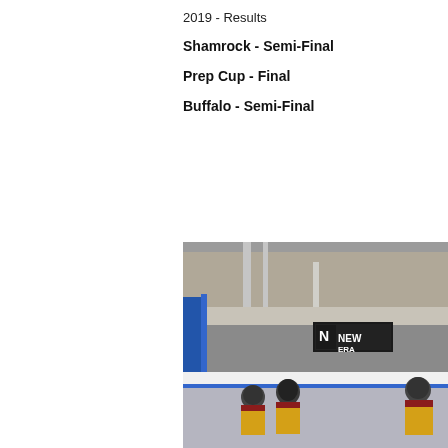2019 - Results
Shamrock - Semi-Final
Prep Cup - Final
Buffalo - Semi-Final
[Figure (photo): Hockey players in yellow and dark jerseys sitting on the bench at an ice hockey rink. A blue goal post is visible on the left, and a New Era advertising board is visible in the background. The arena seating and boards are visible in the upper portion of the image.]